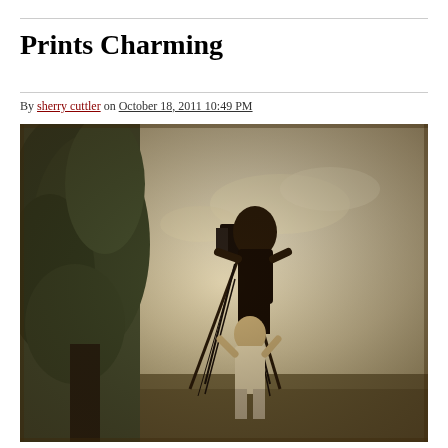Prints Charming
By sherry cuttler on October 18, 2011 10:49 PM
[Figure (photo): Vintage sepia photograph of a photographer using a large format camera on a tall tripod, with an assistant below, set outdoors with trees on the left side and open sky background.]